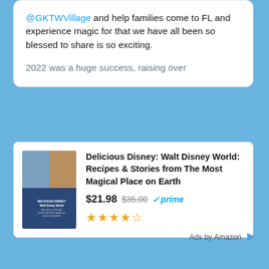@GKTWVillage and help families come to FL and experience magic for that we have all been so blessed to share is so exciting.

2022 was a huge success, raising over
[Figure (screenshot): Amazon advertisement card for 'Delicious Disney: Walt Disney World: Recipes & Stories from The Most Magical Place on Earth' showing book cover image, price $21.98 (was $35.00), Prime badge, and 4.5 star rating]
Ads by Amazon